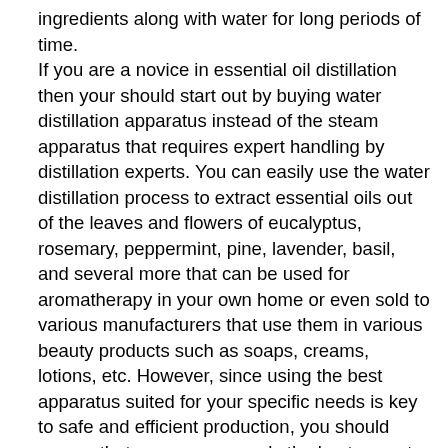ingredients along with water for long periods of time. If you are a novice in essential oil distillation then your should start out by buying water distillation apparatus instead of the steam apparatus that requires expert handling by distillation experts. You can easily use the water distillation process to extract essential oils out of the leaves and flowers of eucalyptus, rosemary, peppermint, pine, lavender, basil, and several more that can be used for aromatherapy in your own home or even sold to various manufacturers that use them in various beauty products such as soaps, creams, lotions, etc. However, since using the best apparatus suited for your specific needs is key to safe and efficient production, you should ensure that you compare only the best so as to end up with reliable equipment that delivers consistent results. You should opt for readymade essential oil distillation apparatus if you are new to this process so as to get it right the first time itself. The distilling apparatus will consist of a copper pot or long vessel suitable for heating up your mixture of water along with leaves or flowers of the desired plant. Copper is the best material for distillation equipment since its